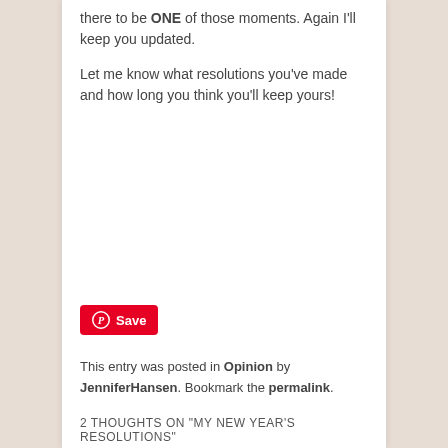there to be ONE of those moments. Again I'll keep you updated.
Let me know what resolutions you've made and how long you think you'll keep yours!
[Figure (other): Pinterest Save button with circular P logo]
This entry was posted in Opinion by JenniferHansen. Bookmark the permalink.
2 THOUGHTS ON "MY NEW YEAR'S RESOLUTIONS"